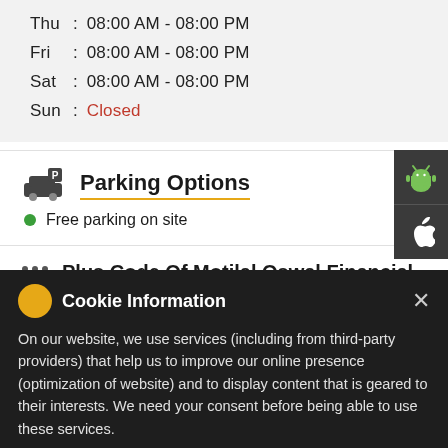Thu : 08:00 AM - 08:00 PM
Fri : 08:00 AM - 08:00 PM
Sat : 08:00 AM - 08:00 PM
Sun : Closed
Parking Options
Free parking on site
Plus Code Of Motilal Oswal Financial Services Limited
7MM93F44+CF
Payment Methods
Cheque
Online Payment
[Figure (screenshot): Cookie Information modal overlay with title 'Cookie Information', cookie emoji icon, close X button, body text about website services and consent, and an 'I ACCEPT' button]
Open an account